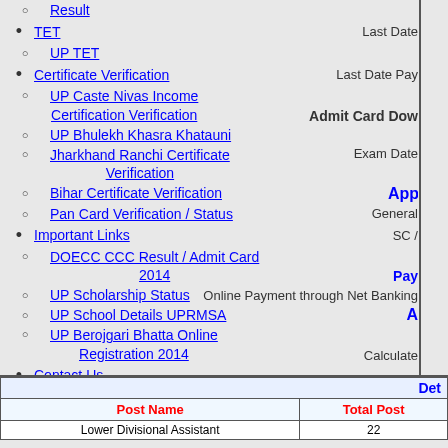Result
TET
UP TET
Certificate Verification
UP Caste Nivas Income Certification Verification
UP Bhulekh Khasra Khatauni
Jharkhand Ranchi Certificate Verification
Bihar Certificate Verification
Pan Card Verification / Status
Important Links
DOECC CCC Result / Admit Card 2014
UP Scholarship Status
Online Payment through Net Banking
UP School Details UPRMSA
UP Berojgari Bhatta Online Registration 2014
Contact Us
Last Date
Last Date Pay
Admit Card Dow
Exam Date
Appl
General
SC /
Pay
Online Payment through Net Banking
A
Calculate
Minimum 21 Yea
For Age Relaxatio
| Post Name | Total Post |
| --- | --- |
| Lower Divisional Assistant | 22 |